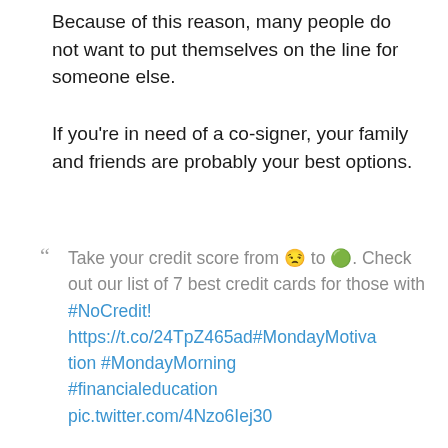Because of this reason, many people do not want to put themselves on the line for someone else.
If you're in need of a co-signer, your family and friends are probably your best options.
" Take your credit score from ☹ to 🌟. Check out our list of 7 best credit cards for those with #NoCredit! https://t.co/24TpZ465ad#MondayMotivation #MondayMorning #financialeducation pic.twitter.com/4Nzo6Iej30